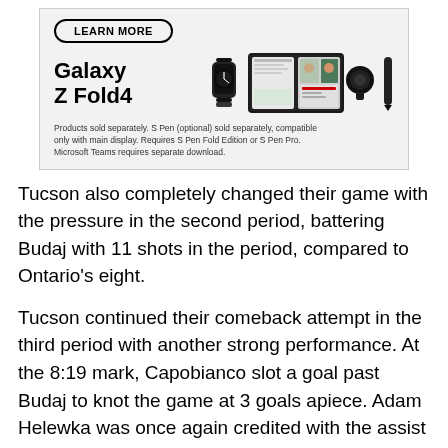[Figure (advertisement): Samsung Galaxy Z Fold4 advertisement with a Learn More button, product image showing a foldable phone, smartwatch, earbuds, and S Pen, along with the brand name 'Galaxy Z Fold4' and a disclaimer about products sold separately.]
Tucson also completely changed their game with the pressure in the second period, battering Budaj with 11 shots in the period, compared to Ontario's eight.
Tucson continued their comeback attempt in the third period with another strong performance. At the 8:19 mark, Capobianco slot a goal past Budaj to knot the game at 3 goals apiece. Adam Helewka was once again credited with the assist keeping his point numbers up alongside Capobianco at 3 points each.